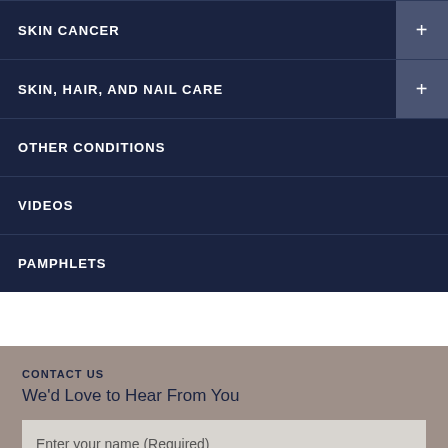SKIN CANCER
SKIN, HAIR, AND NAIL CARE
OTHER CONDITIONS
VIDEOS
PAMPHLETS
CONTACT US
We'd Love to Hear From You
Enter your name (Required)
Enter email (Required)
(XXX)XXX-XXXX (Required)